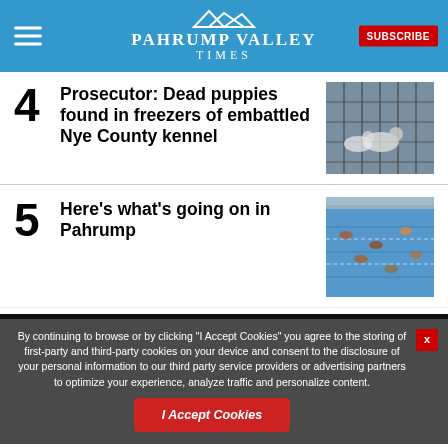Pahrump Valley Times
4 Prosecutor: Dead puppies found in freezers of embattled Nye County kennel
[Figure (photo): Dogs in a kennel enclosure with chain-link fencing]
5 Here’s what’s going on in Pahrump
[Figure (photo): People swimming in an outdoor pool]
By continuing to browse or by clicking “I Accept Cookies” you agree to the storing of first-party and third-party cookies on your device and consent to the disclosure of your personal information to our third party service providers or advertising partners to optimize your experience, analyze traffic and personalize content.
I Accept Cookies